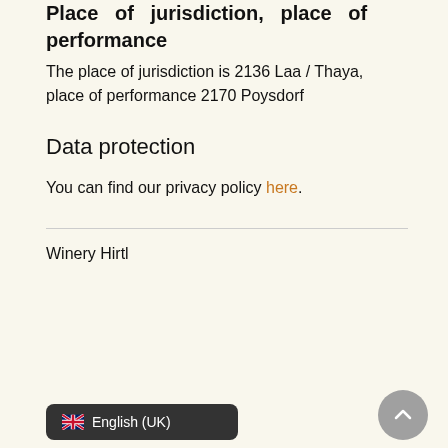Place of jurisdiction, place of performance
The place of jurisdiction is 2136 Laa / Thaya, place of performance 2170 Poysdorf
Data protection
You can find our privacy policy here.
Winery Hirtl
English (UK)